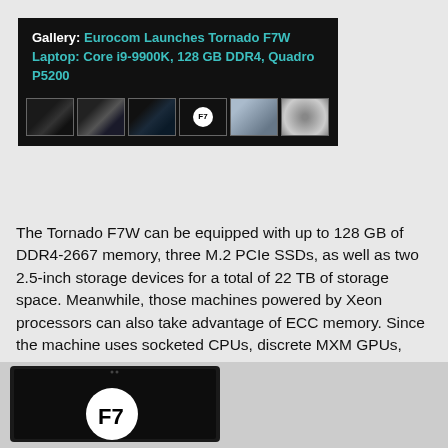[Figure (screenshot): Gallery box with dark background showing title 'Gallery: Eurocom Launches Tornado F7W Laptop: Core i9-9900K, 128 GB DDR4, Quadro P5200' in teal color and a row of 6 laptop/hardware thumbnails below]
The Tornado F7W can be equipped with up to 128 GB of DDR4-2667 memory, three M.2 PCIe SSDs, as well as two 2.5-inch storage devices for a total of 22 TB of storage space. Meanwhile, those machines powered by Xeon processors can also take advantage of ECC memory. Since the machine uses socketed CPUs, discrete MXM GPUs, SO-DIMMs, and M.2 SSDs, it can be easily upgraded after the purchase, just like a desktop PC.
[Figure (photo): Bottom portion of a black laptop with screen showing the F7 logo (white circle with F7 text) on a black background, photographed at an angle]